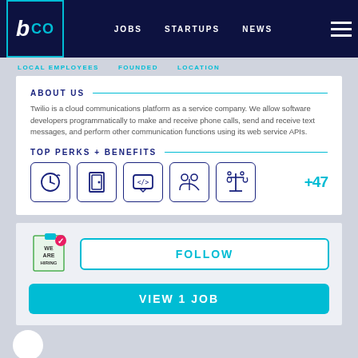b co | JOBS STARTUPS NEWS
LOCAL EMPLOYEES   FOUNDED   LOCATION
ABOUT US
Twilio is a cloud communications platform as a service company. We allow software developers programmatically to make and receive phone calls, send and receive text messages, and perform other communication functions using its web service APIs.
TOP PERKS + BENEFITS
[Figure (infographic): Five icon boxes showing perks: clock icon, door icon, code/chat bubble icon, microscope/team icon, balance scale icon. Plus +47 count shown to the right.]
[Figure (infographic): We Are Hiring badge/sign illustration]
FOLLOW
VIEW 1 JOB